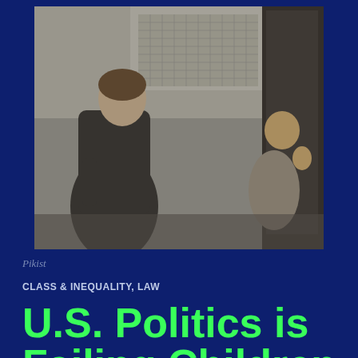[Figure (photo): Black and white photograph of an adult man in a suit seen from behind, standing and looking down at a young boy who is pressed against a door or gate with his hand raised, in an urban alley or building entrance setting.]
Pikist
CLASS & INEQUALITY, LAW
U.S. Politics is Failing Children